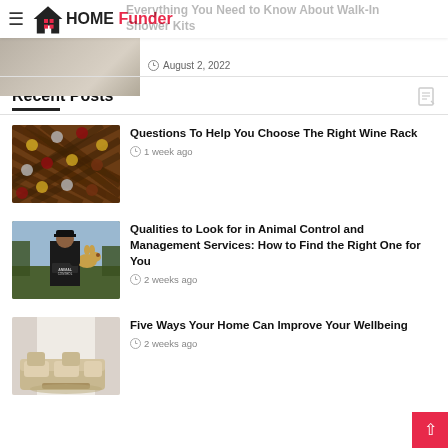HOME Funder
Everything You Need to Know About Walk-In Shower Kits
August 2, 2022
Recent Posts
Questions To Help You Choose The Right Wine Rack
1 week ago
Qualities to Look for in Animal Control and Management Services: How to Find the Right One for You
2 weeks ago
Five Ways Your Home Can Improve Your Wellbeing
2 weeks ago